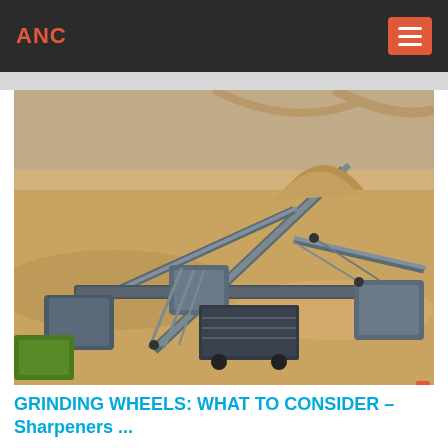ANC
[Figure (photo): Aerial view of large open-pit mining operation with conveyor belts, heavy machinery, trucks, and sandy terrain. A 'Live Chat' bubble is overlaid in the upper right area of the image.]
GRINDING WHEELS: WHAT TO CONSIDER – Sharpeners ...